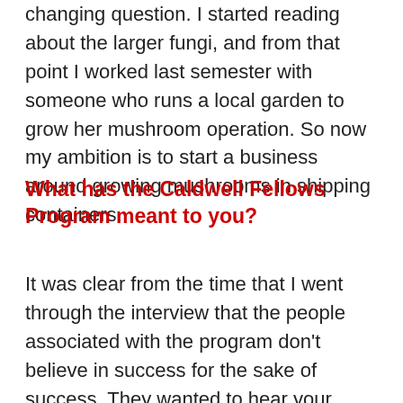changing question. I started reading about the larger fungi, and from that point I worked last semester with someone who runs a local garden to grow her mushroom operation. So now my ambition is to start a business around growing mushrooms in shipping containers.
What has the Caldwell Fellows Program meant to you?
It was clear from the time that I went through the interview that the people associated with the program don't believe in success for the sake of success. They wanted to hear your ability to reflect and discuss things with others and be a good team player. In hindsight, I think it's been the most important experience of my life and I...